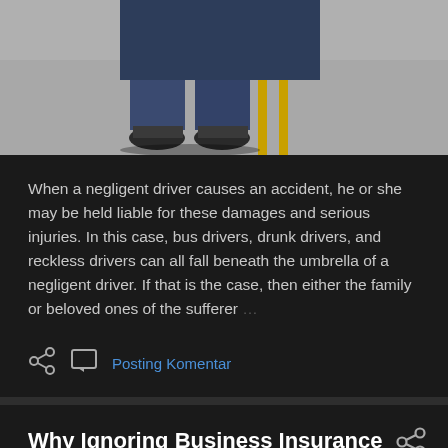[Figure (photo): Photo of a person crouching on a road, showing feet in sandals and jeans, with yellow double lines on road surface]
When a negligent driver causes an accident, he or she may be held liable for these damages and serious injuries. In this case, bus drivers, drunk drivers, and reckless drivers can all fall beneath the umbrella of a negligent driver. If that is the case, then either the family or beloved ones of the sufferer …
Posting Komentar
Why Ignoring Business Insurance Will Cost You Sales
Februari 18, 2022